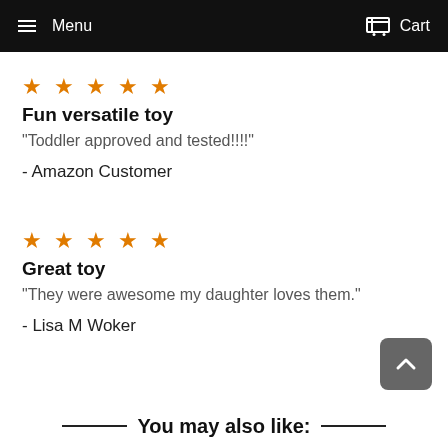Menu  Cart
★★★★★
Fun versatile toy
"Toddler approved and tested!!!!"
- Amazon Customer
★★★★★
Great toy
"They were awesome my daughter loves them."
- Lisa M Woker
You may also like: